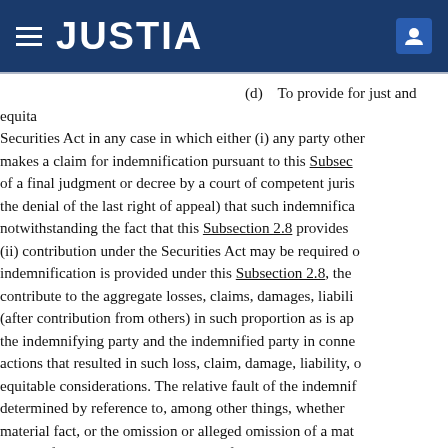JUSTIA
(d)    To provide for just and equita Securities Act in any case in which either (i) any party other makes a claim for indemnification pursuant to this Subsec of a final judgment or decree by a court of competent juris the denial of the last right of appeal) that such indemnifica notwithstanding the fact that this Subsection 2.8 provides (ii) contribution under the Securities Act may be required c indemnification is provided under this Subsection 2.8, ther contribute to the aggregate losses, claims, damages, liabili (after contribution from others) in such proportion as is ap the indemnifying party and the indemnified party in conne actions that resulted in such loss, claim, damage, liability, c equitable considerations. The relative fault of the indemnif determined by reference to, among other things, whether material fact, or the omission or alleged omission of a mat indemnifying party or by the indemnified party and the pa